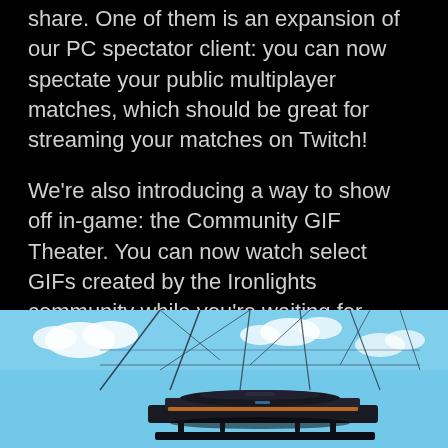share. One of them is an expansion of our PC spectator client: you can now spectate your public multiplayer matches, which should be great for streaming your matches on Twitch!
We're also introducing a way to show off in-game: the Community GIF Theater. You can now watch select GIFs created by the Ironlights community while you're waiting for multiplayer matches (or from the main menu, if you just wanna sit back and binge them all)!
[Figure (screenshot): In-game screenshot showing a futuristic sci-fi arena with a blue sky and hexagonal ceiling structure. A dark hovering vehicle or combat platform is visible in the foreground center.]